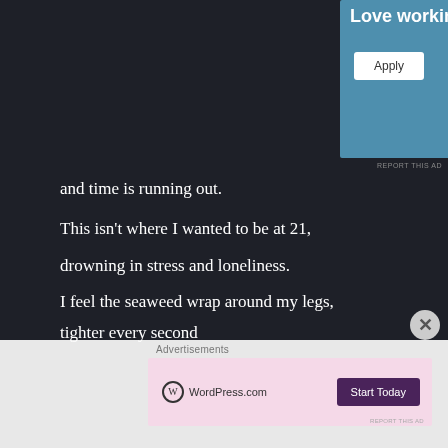[Figure (screenshot): Advertisement box with blue background showing 'Love working again.' text and an Apply button]
REPORT THIS AD
and time is running out.
This isn't where I wanted to be at 21,
drowning in stress and loneliness.
I feel the seaweed wrap around my legs,
tighter every second
Advertisements
[Figure (screenshot): WordPress.com advertisement with pink background and Start Today button]